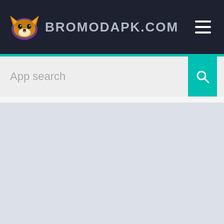BROMODAPK.COM
[Figure (screenshot): Search bar with 'App search' placeholder text and teal search button with magnifier icon]
[Figure (screenshot): Empty light gray/blue main content area below the search bar]